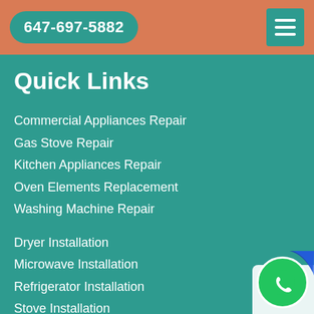647-697-5882
Quick Links
Commercial Appliances Repair
Gas Stove Repair
Kitchen Appliances Repair
Oven Elements Replacement
Washing Machine Repair
Dryer Installation
Microwave Installation
Refrigerator Installation
Stove Installation
Privacy Policy